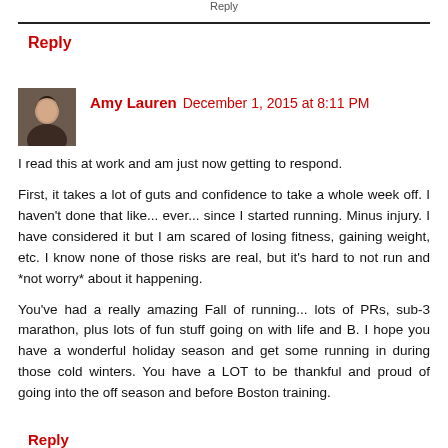Reply
Amy Lauren December 1, 2015 at 8:11 PM
I read this at work and am just now getting to respond.

First, it takes a lot of guts and confidence to take a whole week off. I haven't done that like... ever... since I started running. Minus injury. I have considered it but I am scared of losing fitness, gaining weight, etc. I know none of those risks are real, but it's hard to not run and *not worry* about it happening.

You've had a really amazing Fall of running... lots of PRs, sub-3 marathon, plus lots of fun stuff going on with life and B. I hope you have a wonderful holiday season and get some running in during those cold winters. You have a LOT to be thankful and proud of going into the off season and before Boston training.
Reply